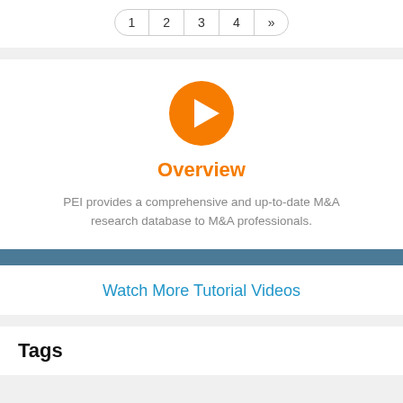1  2  3  4  »
[Figure (illustration): Orange circular play button icon]
Overview
PEI provides a comprehensive and up-to-date M&A research database to M&A professionals.
Watch More Tutorial Videos
Tags